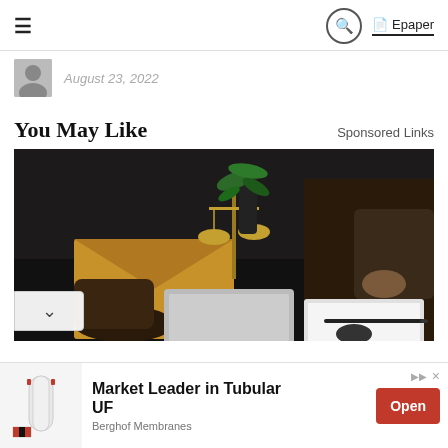≡   [search icon]   Epaper
August 23, 2022
You May Like   Sponsored Links
[Figure (photo): Two people at a desk exchanging an envelope, with a scales of justice and a laptop visible. Legal office setting.]
[Figure (photo): Advertisement: Market Leader in Tubular UF. Berghof Membranes. Open button.]